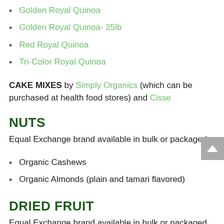Golden Royal Quinoa
Golden Royal Quinoa- 25lb
Red Royal Quinoa
Tri-Color Royal Quinoa
CAKE MIXES by Simply Organics (which can be purchased at health food stores) and Cisse
NUTS
Equal Exchange brand available in bulk or packaged
Organic Cashews
Organic Almonds (plain and tamari flavored)
DRIED FRUIT
Equal Exchange brand available in bulk or packaged at Mom's
Organic Dried Mangoes